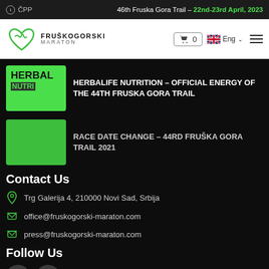ⓘ ČPP   46th Fruska Gora Trail – 22nd-23rd April, 2023
[Figure (logo): Fruškogorski Maraton logo with heart/mountain icon]
[Figure (screenshot): Navigation bar with cart (0), Eng language selector, hamburger menu]
[Figure (photo): Herbalife Nutrition thumbnail image (green background with HERBAL NUTRI text)]
HERBALIFE NUTRITION – OFFICIAL ENERGY OF THE 44TH FRUSKA GORA TRAIL
[Figure (photo): Green rectangle thumbnail for Race Date Change post]
RACE DATE CHANGE – 44rd FRUŠKA GORA TRAIL 2021
Contact Us
Trg Galerija 4, 210000 Novi Sad, Srbija
office@fruskogorski-maraton.com
press@fruskogorski-maraton.com
Follow Us